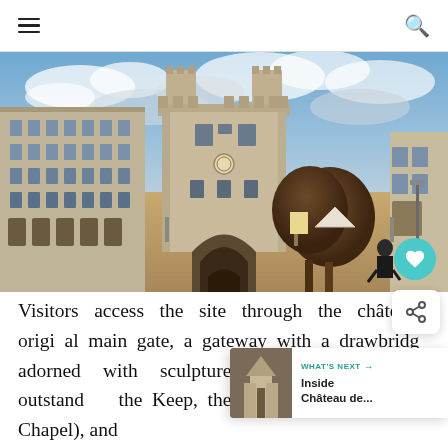Menu | Search
[Figure (photo): Courtyard view of Château de Vincennes, showing the medieval keep/donjon tower at center with crenellated turrets, flanked by stone buildings on either side. Trees visible in the courtyard. Overcast sky with some blue patches.]
Visitors access the site through the château's original main gate, a gateway with a drawbridge adorned with sculptures. Inside the walls, outstanding the Keep, the Saintes-Chapelle (Holy Chapel), and